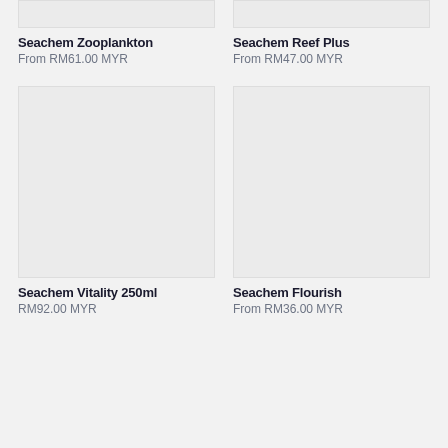[Figure (photo): Product image placeholder for Seachem Zooplankton (top cropped)]
Seachem Zooplankton
From RM61.00 MYR
[Figure (photo): Product image placeholder for Seachem Reef Plus (top cropped)]
Seachem Reef Plus
From RM47.00 MYR
[Figure (photo): Product image placeholder for Seachem Vitality 250ml]
Seachem Vitality 250ml
RM92.00 MYR
[Figure (photo): Product image placeholder for Seachem Flourish]
Seachem Flourish
From RM36.00 MYR